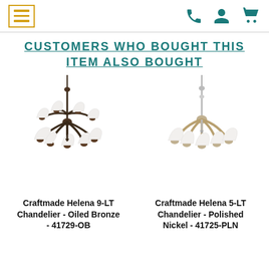Navigation header with hamburger menu and icons for phone, account, and cart
CUSTOMERS WHO BOUGHT THIS ITEM ALSO BOUGHT
[Figure (photo): Craftmade Helena 9-LT Chandelier in Oiled Bronze finish with white glass shades, dark bronze arms]
[Figure (photo): Craftmade Helena 5-LT Chandelier in Polished Nickel finish with white glass shades, silver arms]
Craftmade Helena 9-LT Chandelier - Oiled Bronze - 41729-OB
Craftmade Helena 5-LT Chandelier - Polished Nickel - 41725-PLN